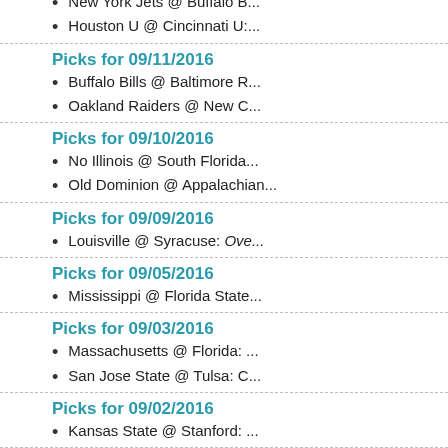New York Jets @ Buffalo B...
Houston U @ Cincinnati U:...
Picks for 09/11/2016
Buffalo Bills @ Baltimore R...
Oakland Raiders @ New C...
Picks for 09/10/2016
No Illinois @ South Florida...
Old Dominion @ Appalachian...
Picks for 09/09/2016
Louisville @ Syracuse: Ove...
Picks for 09/05/2016
Mississippi @ Florida State...
Picks for 09/03/2016
Massachusetts @ Florida: ...
San Jose State @ Tulsa: C...
Picks for 09/02/2016
Kansas State @ Stanford: ...
Picks for 09/01/2016
Oregon State @ Minnesota...
Houston Texans @ Dallas C...